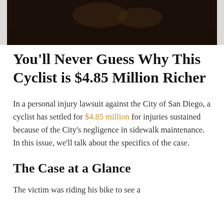[Figure (photo): Dark photo showing a cyclist or outdoor nighttime scene, partially visible at the top of the page]
You'll Never Guess Why This Cyclist is $4.85 Million Richer
In a personal injury lawsuit against the City of San Diego, a cyclist has settled for $4.85 million for injuries sustained because of the City's negligence in sidewalk maintenance. In this issue, we'll talk about the specifics of the case.
The Case at a Glance
The victim was riding his bike to see a